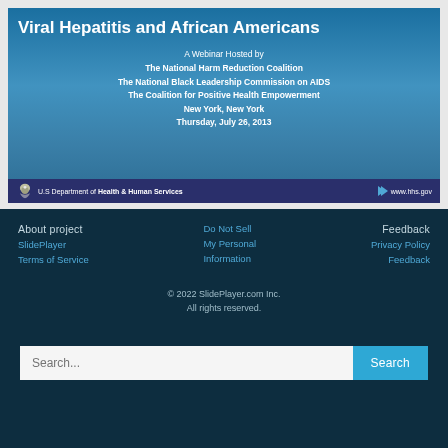[Figure (screenshot): Slide thumbnail for 'Viral Hepatitis and African Americans' webinar hosted by The National Harm Reduction Coalition, The National Black Leadership Commission on AIDS, The Coalition for Positive Health Empowerment, New York, New York, Thursday, July 26, 2013. U.S. Department of Health & Human Services branding bar at bottom.]
About project
SlidePlayer
Terms of Service
Do Not Sell
My Personal
Information
Feedback
Privacy Policy
Feedback
© 2022 SlidePlayer.com Inc.
All rights reserved.